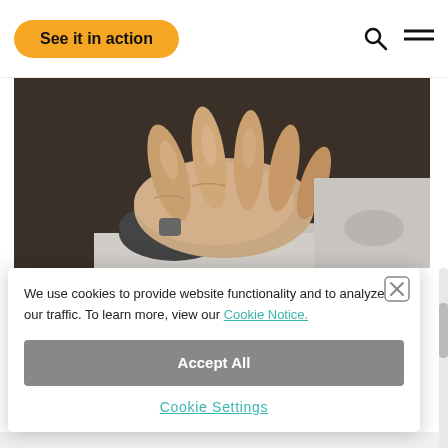See it in action
[Figure (photo): Close-up photo of a person's hand resting on a computer mouse on a desk]
We use cookies to provide website functionality and to analyze our traffic. To learn more, view our Cookie Notice.
Accept All
Cookie Settings